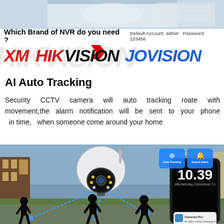[Figure (photo): Top portion of product image showing NVR/camera device on a surface]
Which Brand of NVR do you need ? Default Account: admin  Password: 123456
[Figure (logo): Brand logos: XM (red italic), HIKVISION (red/black italic), JOVISION (blue italic) with watermark text in background]
AI Auto Tracking
Security CCTV camera will auto tracking roate with movement,the alarm notification will be sent to your phone in time,  when someone come around your home
[Figure (photo): PTZ security camera with AI auto tracking showing silhouettes of people being tracked, with smartphone displaying time 10.39 Wednesday December 11 and Carecam Pro notification, and buttons for Auto Tracking, Sound Alarm, Video Recording]